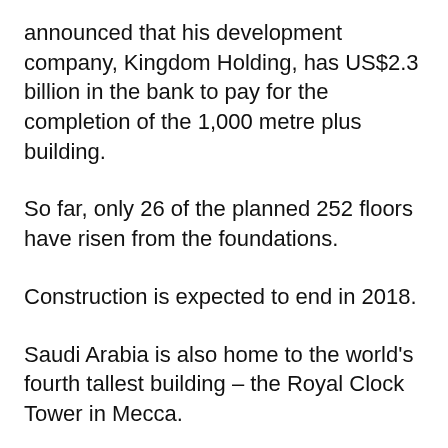announced that his development company, Kingdom Holding, has US$2.3 billion in the bank to pay for the completion of the 1,000 metre plus building.
So far, only 26 of the planned 252 floors have risen from the foundations.
Construction is expected to end in 2018.
Saudi Arabia is also home to the world's fourth tallest building – the Royal Clock Tower in Mecca.
Standing 601 metres tall with 120 floors, construction ended in 2012 after the government spent an estimated $1.5 billion on the project.